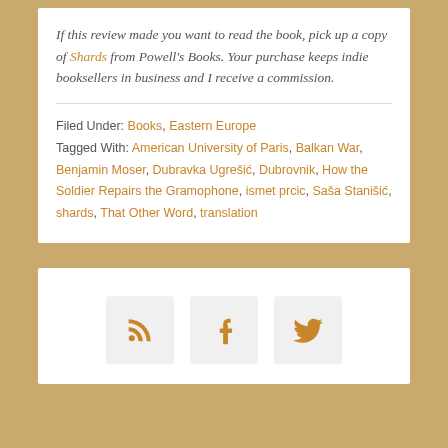If this review made you want to read the book, pick up a copy of Shards from Powell's Books. Your purchase keeps indie booksellers in business and I receive a commission.
Filed Under: Books, Eastern Europe
Tagged With: American University of Paris, Balkan War, Benjamin Moser, Dubravka Ugrešić, Dubrovnik, How the Soldier Repairs the Gramophone, ismet prcic, Saša Stanišić, shards, That Other Word, translation
[Figure (infographic): Three social media icon buttons (RSS, Tumblr, Twitter) displayed as square tiles with orange icons on light gray backgrounds.]